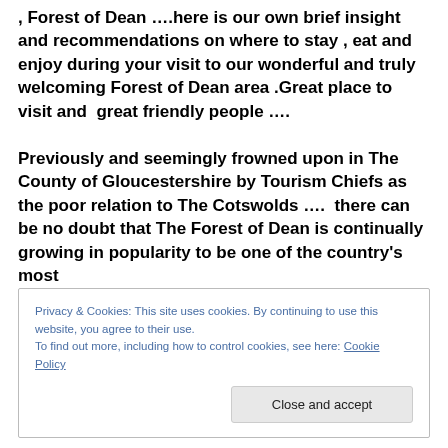, Forest of Dean ….here is our own brief insight and recommendations on where to stay , eat and enjoy during your visit to our wonderful and truly welcoming Forest of Dean area .Great place to visit and  great friendly people ….

Previously and seemingly frowned upon in The County of Gloucestershire by Tourism Chiefs as the poor relation to The Cotswolds ….  there can be no doubt that The Forest of Dean is continually growing in popularity to be one of the country's most
Privacy & Cookies: This site uses cookies. By continuing to use this website, you agree to their use.
To find out more, including how to control cookies, see here: Cookie Policy
Close and accept